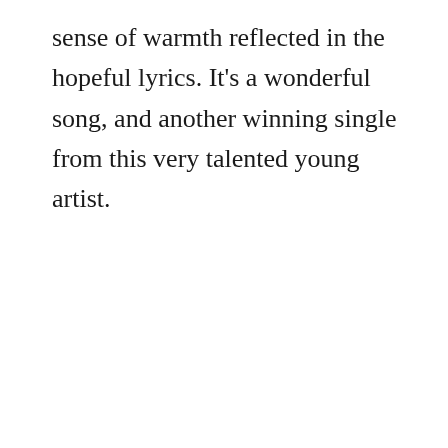sense of warmth reflected in the hopeful lyrics. It's a wonderful song, and another winning single from this very talented young artist.